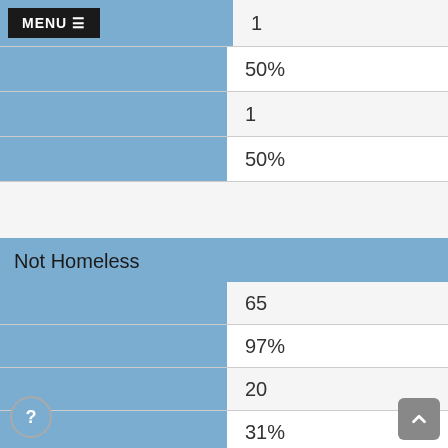MENU
|  | 1 |
|  | 50% |
|  | 1 |
|  | 50% |
Not Homeless
|  | 65 |
|  | 97% |
|  | 20 |
|  | 31% |
|  | 45 |
|  | 69% |